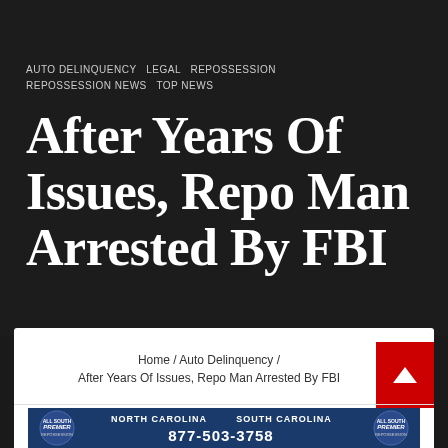AUTO DELINQUENCY  LEGAL  REPOSSESSION  REPOSSESSION NEWS  TOP NEWS
After Years Of Issues, Repo Man Arrested By FBI
Home / Auto Delinquency / After Years Of Issues, Repo Man Arrested By FBI
[Figure (logo): Advertisement banner for a repossession company serving North Carolina and South Carolina, phone number 877-503-3758]